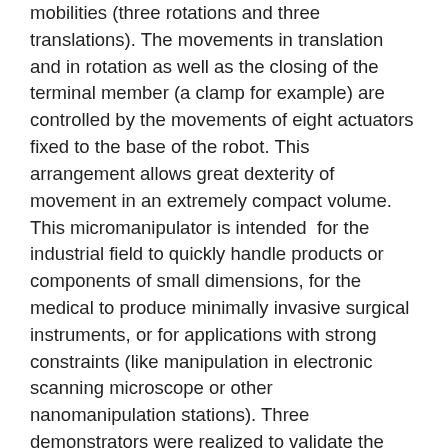mobilities (three rotations and three translations). The movements in translation and in rotation as well as the closing of the terminal member (a clamp for example) are controlled by the movements of eight actuators fixed to the base of the robot. This arrangement allows great dexterity of movement in an extremely compact volume. This micromanipulator is intended  for the industrial field to quickly handle products or components of small dimensions, for the medical to produce minimally invasive surgical instruments, or for applications with strong constraints (like manipulation in electronic scanning microscope or other nanomanipulation stations). Three demonstrators were realized to validate the concept with different technologies and different dimensions.The smallest demonstrator measuring 1 cm3 makes it the smallest robot in the world having 7 degrees of freedom.